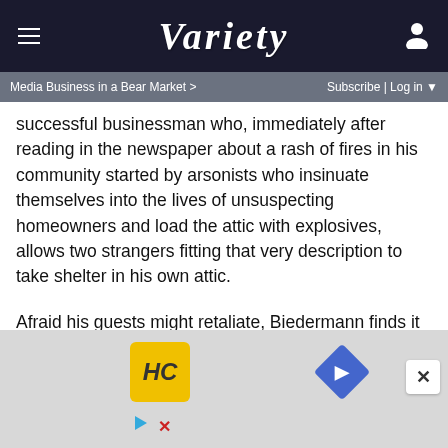VARIETY
Media Business in a Bear Market > Subscribe | Log in
successful businessman who, immediately after reading in the newspaper about a rash of fires in his community started by arsonists who insinuate themselves into the lives of unsuspecting homeowners and load the attic with explosives, allows two strangers fitting that very description to take shelter in his own attic.
Afraid his guests might retaliate, Biedermann finds it impossible to kick the firebugs out, even as they cram his attic from floor to ceiling with barrels of gasoline clearly marked “Flammable.” Reasoning that no real arsonists would be so guileless, Biedermann finds endless ways to rationalize the firebugs’
[Figure (other): Advertisement banner at bottom of page showing HC logo and a road sign icon with play and close controls]